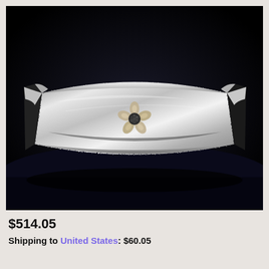[Figure (photo): A wide hammered silver cuff bracelet with an open-back design, featuring a decorative flower motif with dark granulated beads at the center, photographed against a dark black background.]
$514.05
Shipping to United States: $60.05